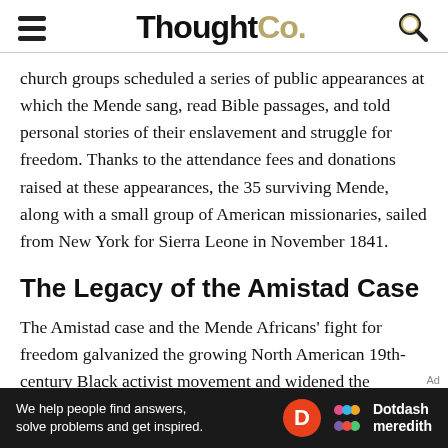ThoughtCo.
church groups scheduled a series of public appearances at which the Mende sang, read Bible passages, and told personal stories of their enslavement and struggle for freedom. Thanks to the attendance fees and donations raised at these appearances, the 35 surviving Mende, along with a small group of American missionaries, sailed from New York for Sierra Leone in November 1841.
The Legacy of the Amistad Case
The Amistad case and the Mende Africans' fight for freedom galvanized the growing North American 19th-century Black activist movement and widened the political and societal
[Figure (other): Dotdash Meredith advertisement banner: 'We help people find answers, solve problems and get inspired.' with Dotdash Meredith logo on dark background.]